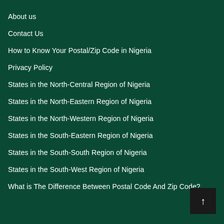About us
Contact Us
How to Know Your Postal/Zip Code in Nigeria
Privacy Policy
States in the North-Central Region of Nigeria
States in the North-Eastern Region of Nigeria
States in the North-Western Region of Nigeria
States in the South-Eastern Region of Nigeria
States in the South-South Region of Nigeria
States in the South-West Region of Nigeria
What is The Difference Between Postal Code And Zip Code?